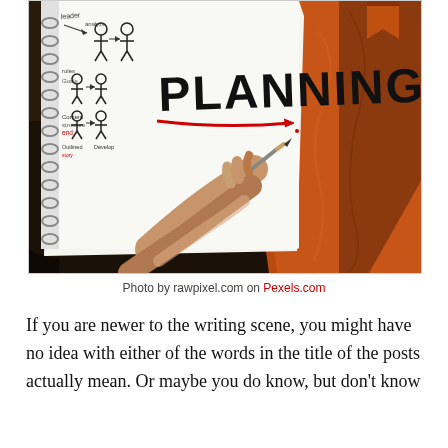[Figure (photo): A person's hand holding a pencil writing in an open spiral notebook with the word PLANNING written in large bold handwritten letters with a red underline arrow, surrounded by diagrams and notes. The notebook rests on a leather journal with warm orange/brown tones, set against a dark background.]
Photo by rawpixel.com on Pexels.com
If you are newer to the writing scene, you might have no idea with either of the words in the title of the posts actually mean. Or maybe you do know, but don't know